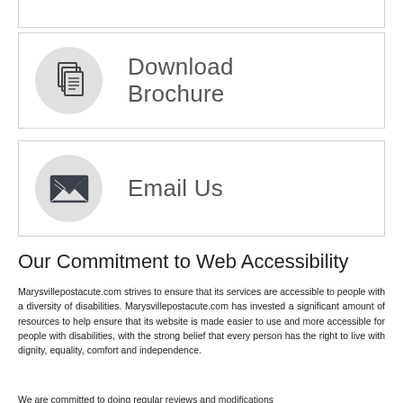[Figure (illustration): Card with icon circle (partially visible at top) — top card cropped]
[Figure (illustration): Card with brochure/document icon in grey circle and text 'Download Brochure']
[Figure (illustration): Card with envelope/email icon in grey circle and text 'Email Us']
Our Commitment to Web Accessibility
Marysvillepostacute.com strives to ensure that its services are accessible to people with a diversity of disabilities. Marysvillepostacute.com has invested a significant amount of resources to help ensure that its website is made easier to use and more accessible for people with disabilities, with the strong belief that every person has the right to live with dignity, equality, comfort and independence.
We are committed to doing regular reviews and modifications